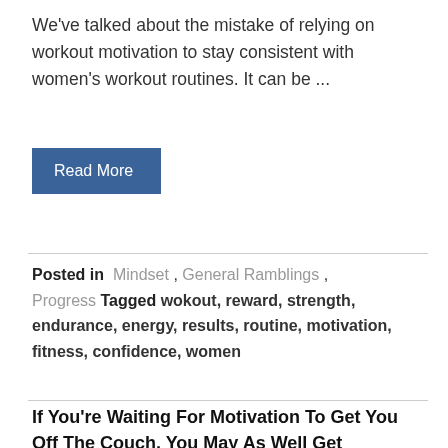We've talked about the mistake of relying on workout motivation to stay consistent with women's workout routines. It can be ...
Read More
Posted in  Mindset ,  General Ramblings ,  Progress  Tagged wokout, reward, strength, endurance, energy, results, routine, motivation, fitness, confidence, women
If You're Waiting For Motivation To Get You Off The Couch, You May As Well Get Comfortable